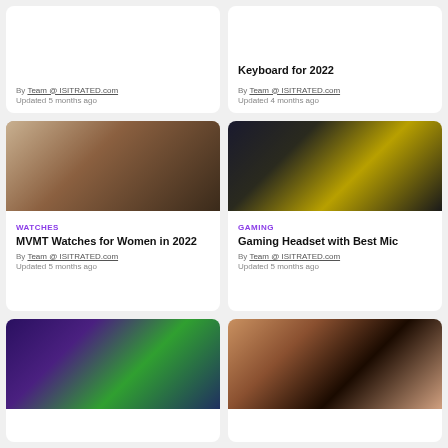Keyboard for 2022
By Team @ ISITRATED.com
Updated 5 months ago
By Team @ ISITRATED.com
Updated 4 months ago
[Figure (photo): Woman wearing MVMT watch with bracelets on wrist]
WATCHES
MVMT Watches for Women in 2022
By Team @ ISITRATED.com
Updated 5 months ago
[Figure (photo): Yellow and black Razer gaming headset]
GAMING
Gaming Headset with Best Mic
By Team @ ISITRATED.com
Updated 5 months ago
[Figure (photo): Fortnite gaming scene with characters]
[Figure (photo): Woman photographer holding camera to eye]